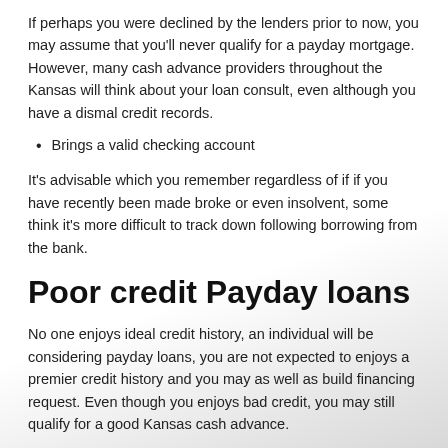If perhaps you were declined by the lenders prior to now, you may assume that you'll never qualify for a payday mortgage. However, many cash advance providers throughout the Kansas will think about your loan consult, even although you have a dismal credit records.
Brings a valid checking account
It's advisable which you remember regardless of if if you have recently been made broke or even insolvent, some think it's more difficult to track down following borrowing from the bank.
Poor credit Payday loans
No one enjoys ideal credit history, an individual will be considering payday loans, you are not expected to enjoys a premier credit history and you may as well as build financing request. Even though you enjoys bad credit, you may still qualify for a good Kansas cash advance.
Lenders i work at remember that your credit score indeed necessarily a good meditation outside of the means you take control of your currency. Many reasons exist anyone has a dismal